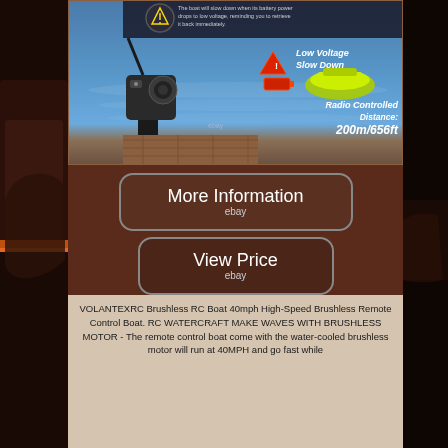[Figure (photo): Product listing page for VOLANTEXRC Brushless RC Boat showing a radio-controlled boat on water with 'Low Voltage Slow Down' feature highlighted, a remote control transmitter, and text 'Radio Controlled Distance: 200m/656ft'. Includes two eBay call-to-action buttons ('More Information' and 'View Price') and a product description below.]
Low Voltage
Slow Down
Radio Controlled
Distance:
200m/656ft
More Information
ebay
View Price
ebay
VOLANTEXRC Brushless RC Boat 40mph High-Speed Brushless Remote Control Boat. RC WATERCRAFT MAKE WAVES WITH BRUSHLESS MOTOR - The remote control boat come with the water-cooled brushless motor will run at 40MPH and go fast while